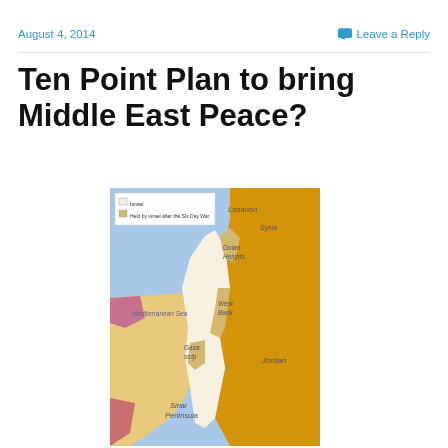August 4, 2014    Leave a Reply
Ten Point Plan to bring Middle East Peace?
[Figure (map): Map of Israel and surrounding region showing Israel (white), territory held by Israel after the Six Day War (tan/beige), Mediterranean Sea (blue), Lebanon, Syria, Golan Heights, West Bank, Gaza Strip, Jordan, and Sinai Peninsula labeled.]